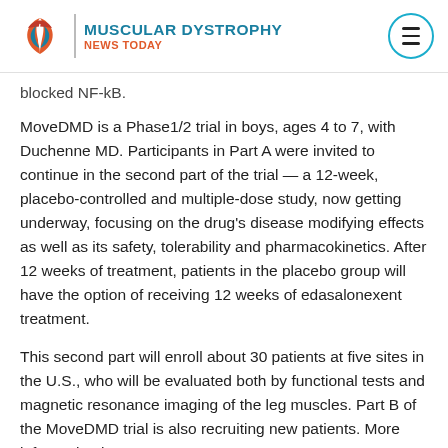MUSCULAR DYSTROPHY NEWS TODAY
blocked NF-kB.
MoveDMD is a Phase1/2 trial in boys, ages 4 to 7, with Duchenne MD. Participants in Part A were invited to continue in the second part of the trial — a 12-week, placebo-controlled and multiple-dose study, now getting underway, focusing on the drug's disease modifying effects as well as its safety, tolerability and pharmacokinetics. After 12 weeks of treatment, patients in the placebo group will have the option of receiving 12 weeks of edasalonexent treatment.
This second part will enroll about 30 patients at five sites in the U.S., who will be evaluated both by functional tests and magnetic resonance imaging of the leg muscles. Part B of the MoveDMD trial is also recruiting new patients. More information is